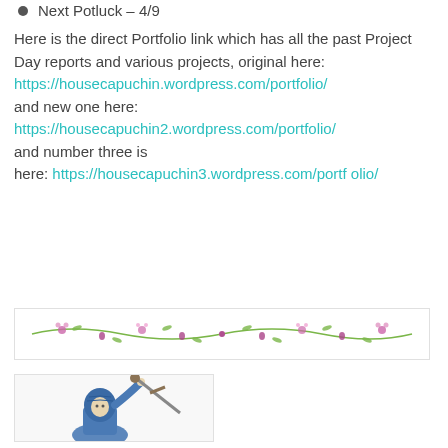Next Potluck – 4/9
Here is the direct Portfolio link which has all the past Project Day reports and various projects, original here:
https://housecapuchin.wordpress.com/portfolio/
and new one here:
https://housecapuchin2.wordpress.com/portfolio/
and number three is here: https://housecapuchin3.wordpress.com/portfolio/
[Figure (illustration): Decorative floral divider border with green vines and purple/pink flowers]
[Figure (illustration): Medieval knight or warrior in blue robes holding a sword aloft]